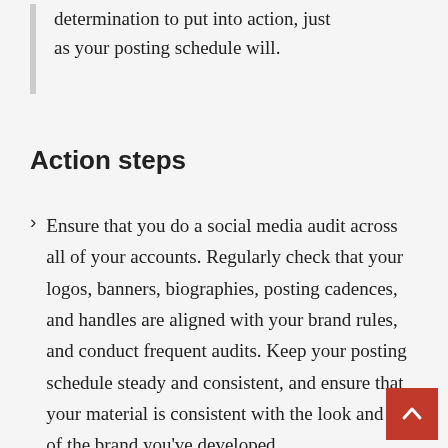determination to put into action, just as your posting schedule will.
Action steps
Ensure that you do a social media audit across all of your accounts. Regularly check that your logos, banners, biographies, posting cadences, and handles are aligned with your brand rules, and conduct frequent audits. Keep your posting schedule steady and consistent, and ensure that your material is consistent with the look and feel of the brand you've developed.